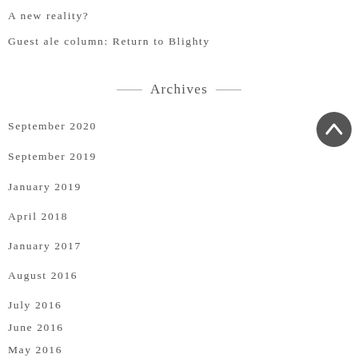A new reality?
Guest ale column: Return to Blighty
Archives
September 2020
September 2019
January 2019
April 2018
January 2017
August 2016
July 2016
June 2016
May 2016